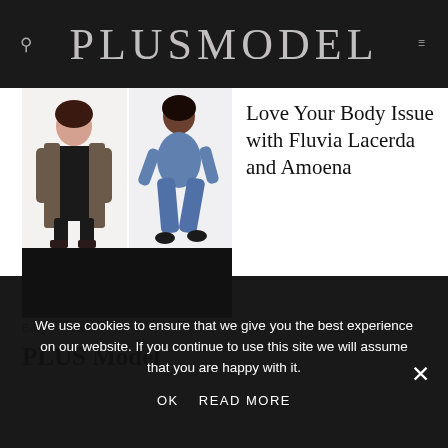PLUSMODEL
[Figure (photo): Two plus-size female models in a photo shoot side by side; left model wears a black dress with a long cardigan; right model wears a blue athletic outfit; below is a black strip.]
Love Your Body Issue with Fluvia Lacerda and Amoena
Body  /  News
PLUS Model
We use cookies to ensure that we give you the best experience on our website. If you continue to use this site we will assume that you are happy with it.
OK   READ MORE